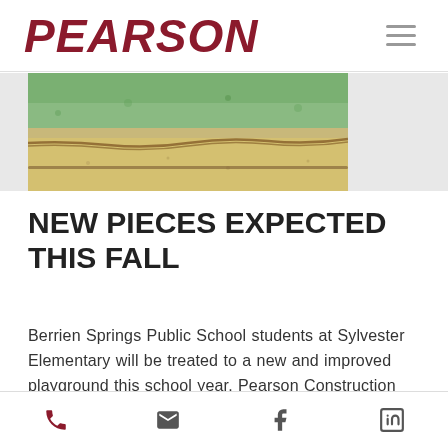PEARSON
[Figure (photo): Outdoor photo showing a sandy/dirt path or ground with grass and soil, partial view cropped at top]
NEW PIECES EXPECTED THIS FALL
Berrien Springs Public School students at Sylvester Elementary will be treated to a new and improved playground this school year. Pearson Construction crews have been busy
Phone | Email | Facebook | LinkedIn